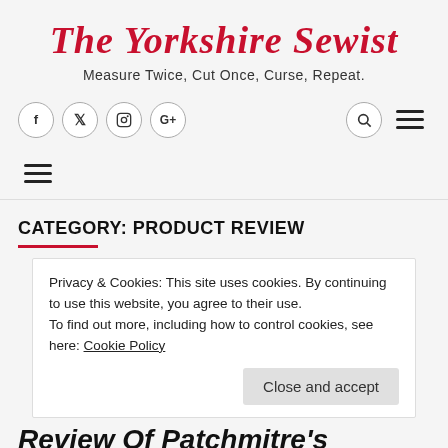The Yorkshire Sewist
Measure Twice, Cut Once, Curse, Repeat.
[Figure (screenshot): Navigation bar with social icons (f, twitter, instagram, g+) on the left and search and hamburger menu icons on the right]
[Figure (screenshot): Left-aligned hamburger menu (three horizontal lines)]
CATEGORY: PRODUCT REVIEW
Privacy & Cookies: This site uses cookies. By continuing to use this website, you agree to their use.
To find out more, including how to control cookies, see here: Cookie Policy
Close and accept
Review Of Patchmitre's